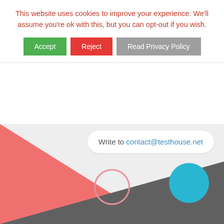This website uses cookies to improve your experience. We'll assume you're ok with this, but you can opt-out if you wish.
Accept | Reject | Read Privacy Policy
[Figure (screenshot): Website background with light gray area, salmon/coral triangular shape in lower left, dark gray strip at bottom, a pink loading circle spinner in the center area, a white rounded contact box with 'Write to contact@testhouse.net', and a cyan/blue circle button in lower right.]
Write to contact@testhouse.net